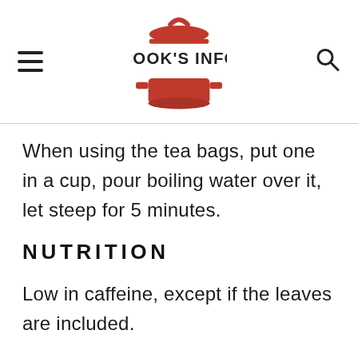[Figure (logo): Cook's Info logo with red pot and lid icon above the text COOK'S INFO]
When using the tea bags, put one in a cup, pour boiling water over it, let steep for 5 minutes.
NUTRITION
Low in caffeine, except if the leaves are included.